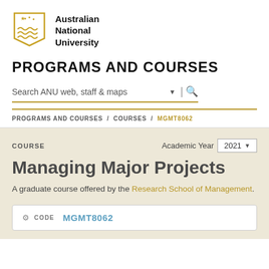[Figure (logo): Australian National University crest/shield logo in gold with stars and wave pattern]
Australian National University
PROGRAMS AND COURSES
Search ANU web, staff & maps
PROGRAMS AND COURSES / COURSES / MGMT8062
COURSE
Academic Year 2021
Managing Major Projects
A graduate course offered by the Research School of Management.
CODE MGMT8062